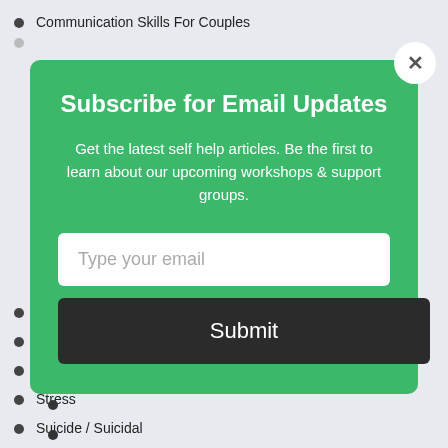Communication Skills For Couples
[Figure (screenshot): Email subscription modal popup with green background. Contains title 'Subscribe for Email Updates', descriptive text, an email input field, and a Submit button. Has a close (X) button in top right corner.]
Separation & Divorce
Smoking
Spirituality
Stress
Suicide / Suicidal
Trauma
Work
Young and Single
z Styles & Types Of Therapy